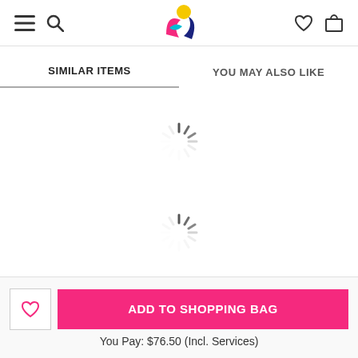Header with logo and navigation icons
SIMILAR ITEMS | YOU MAY ALSO LIKE
[Figure (other): Loading spinner (animated loading indicator)]
[Figure (other): Loading spinner (animated loading indicator)]
More Options know more
⓪ Help
ADD TO SHOPPING BAG
You Pay: $76.50 (Incl. Services)